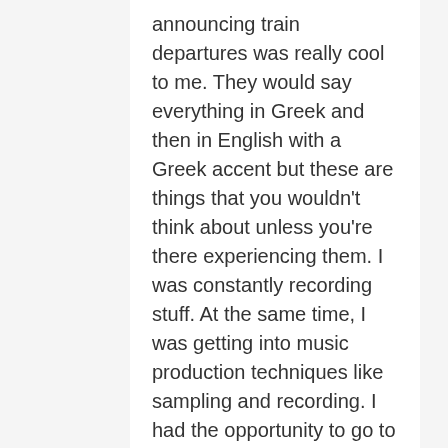announcing train departures was really cool to me. They would say everything in Greek and then in English with a Greek accent but these are things that you wouldn't think about unless you're there experiencing them. I was constantly recording stuff. At the same time, I was getting into music production techniques like sampling and recording. I had the opportunity to go to Paris – and I spent time discovering sounds native to them – like the elevator sounds at my friend Yoann's flat and other transportation